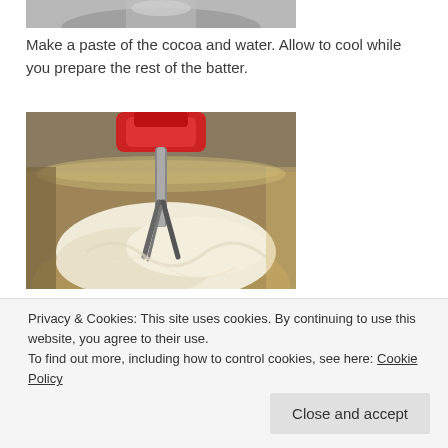[Figure (photo): Top portion of a mixing bowl or kitchen equipment, cropped at top of page]
Make a paste of the cocoa and water. Allow to cool while you prepare the rest of the batter.
[Figure (photo): A stand mixer with red top mixing pale batter/dough in a stainless steel bowl]
Cream the sugar and shortening together until light and fluffy.
Privacy & Cookies: This site uses cookies. By continuing to use this website, you agree to their use.
To find out more, including how to control cookies, see here: Cookie Policy